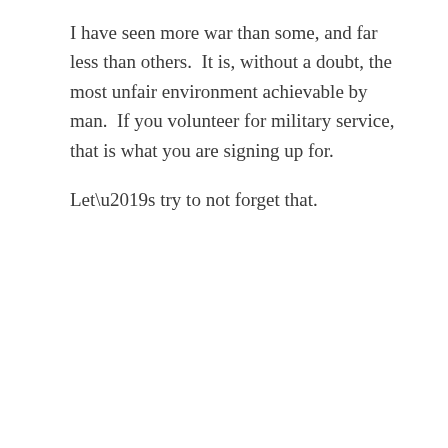I have seen more war than some, and far less than others.  It is, without a doubt, the most unfair environment achievable by man.  If you volunteer for military service, that is what you are signing up for.
Let’s try to not forget that.